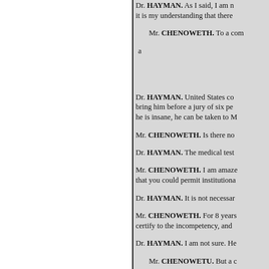Dr. HAYMAN. As I said, I am... it is my understanding that there
Mr. CHENOWETH. To a com...
a
Dr. HAYMAN. United States co... bring him before a jury of six pe... he is insane, he can be taken to M
Mr. CHENOWETH. Is there no
Dr. HAYMAN. The medical test...
Mr. CHENOWETH. I am amaze... that you could permit institutiona...
Dr. HAYMAN. It is not necessar...
Mr. CHENOWETH. For 8 years... certify to the incompetency, and
Dr. HAYMAN. I am not sure. He
Mr. CHENOWETU. But a...
Dr. HAYMAN. He is not.
Mr. CHENOWETH. M...